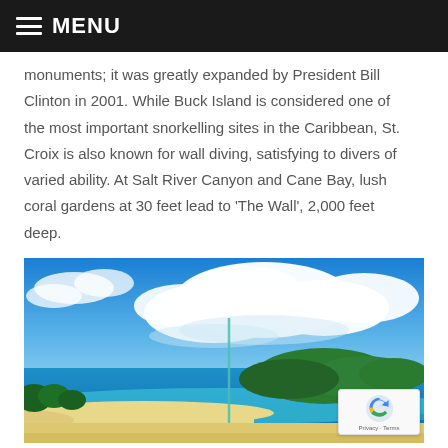MENU
monuments; it was greatly expanded by President Bill Clinton in 2001. While Buck Island is considered one of the most important snorkelling sites in the Caribbean, St. Croix is also known for wall diving, satisfying to divers of varied ability. At Salt River Canyon and Cane Bay, lush coral gardens at 30 feet lead to ‘The Wall’, 2,000 feet deep.
[Figure (photo): Tropical beach scene with bright blue sky and large white cumulus clouds, turquoise water, white sandy beach, green forested hills in the background, and a tall thin pole or mast visible in the foreground.]